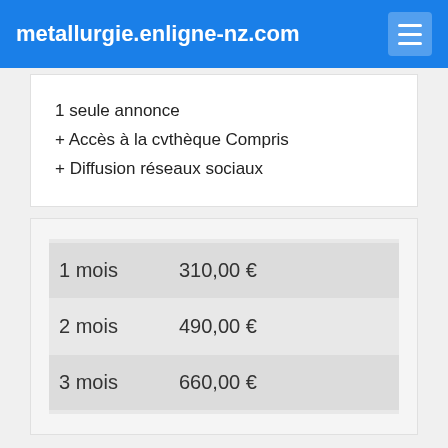metallurgie.enligne-nz.com
1 seule annonce
+ Accès à la cvthèque Compris
+ Diffusion réseaux sociaux
| Durée | Prix |
| --- | --- |
| 1 mois | 310,00 € |
| 2 mois | 490,00 € |
| 3 mois | 660,00 € |